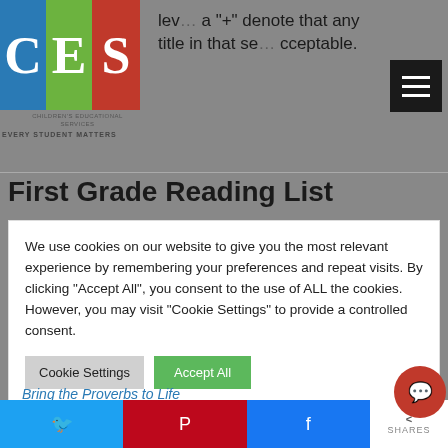lev... a "+" denote that any title in that se... cceptable.
[Figure (logo): Children's Educational Services (CES) logo with colored letter blocks C (blue), E (green), S (red) and tagline EVERY STUDENT MATTERS]
First Grade Reading List
We use cookies on our website to give you the most relevant experience by remembering your preferences and repeat visits. By clicking "Accept All", you consent to the use of ALL the cookies. However, you may visit "Cookie Settings" to provide a controlled consent.
Bring the Proverbs to Life
Brown, Jeff. Flat Stanley
Dalgliesh, Alice. The Courage of Sarah N...